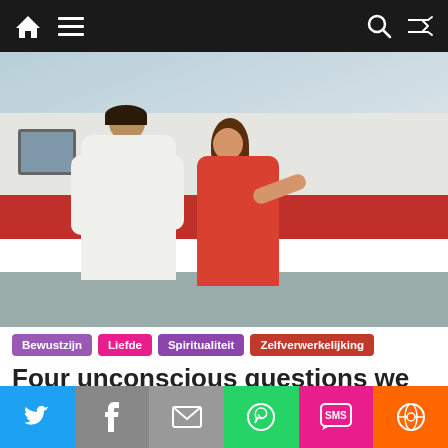Navigation bar with home, menu, search, and shuffle icons
[Figure (photo): A couple standing near a red train. Man in white t-shirt with back to camera, woman in red dress looking up at him.]
Bewustzijn
Liefde
Spiritualiteit
Zelfverwerkelijking
Four unconscious questions we
Social share bar: Twitter, Facebook, Email, WhatsApp, SMS, Other